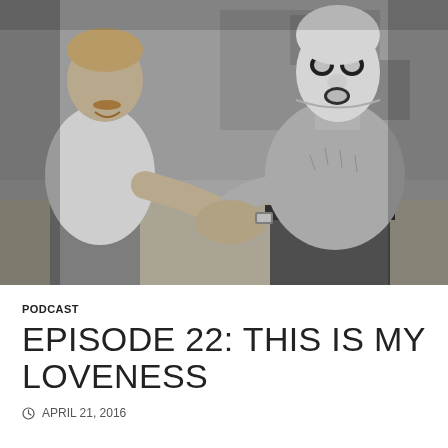[Figure (photo): Black and white photograph of two men shaking/clasping hands. The man on the left is smiling, wearing a white polo shirt, with short light-colored hair and a mustache. The man on the right is shirtless, wearing a wrestling mask (white mask with dark eye and mouth cutouts) and a belt, with a watch on his wrist.]
PODCAST
EPISODE 22: THIS IS MY LOVENESS
APRIL 21, 2016